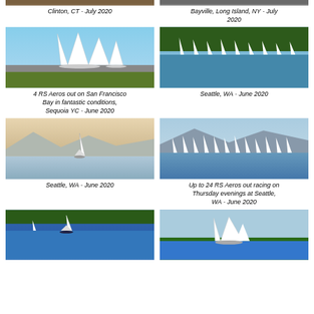[Figure (photo): Partial cropped photo at top left - Clinton CT July 2020]
[Figure (photo): Partial cropped photo at top right - Bayville Long Island NY July 2020]
Clinton, CT - July 2020
Bayville, Long Island, NY - July 2020
[Figure (photo): 4 RS Aeros on land near San Francisco Bay - Sequoia YC June 2020]
[Figure (photo): Fleet of RS Aeros sailing on water - Seattle WA June 2020]
4 RS Aeros out on San Francisco Bay in fantastic conditions, Sequoia YC - June 2020
Seattle, WA - June 2020
[Figure (photo): Single RS Aero sailing at sunset - Seattle WA June 2020]
[Figure (photo): Large fleet of RS Aeros racing on water with mountains - Seattle WA June 2020]
Seattle, WA - June 2020
Up to 24 RS Aeros out racing on Thursday evenings at Seattle, WA - June 2020
[Figure (photo): RS Aero sailing on blue water with trees - bottom left]
[Figure (photo): RS Aero sailing near tree-lined shore - bottom right]